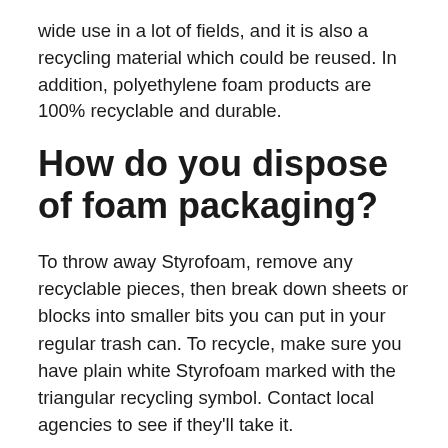wide use in a lot of fields, and it is also a recycling material which could be reused. In addition, polyethylene foam products are 100% recyclable and durable.
How do you dispose of foam packaging?
To throw away Styrofoam, remove any recyclable pieces, then break down sheets or blocks into smaller bits you can put in your regular trash can. To recycle, make sure you have plain white Styrofoam marked with the triangular recycling symbol. Contact local agencies to see if they'll take it.
Can foam egg cartons be